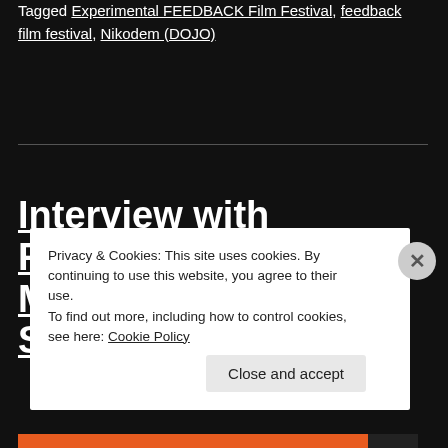Tagged Experimental FEEDBACK Film Festival, feedback film festival, Nikodem (DOJO)
Interview with Filmmaker Marta Benzi (IN SEARCH
Privacy & Cookies: This site uses cookies. By continuing to use this website, you agree to their use. To find out more, including how to control cookies, see here: Cookie Policy